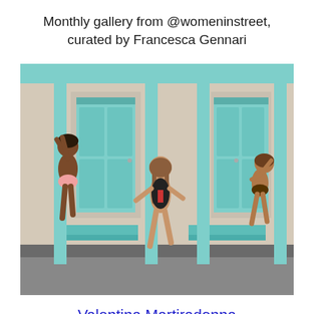Monthly gallery from @womeninstreet, curated by Francesca Gennari
[Figure (photo): Three young girls in swimsuits playing at a beach cabana with teal/turquoise painted doors and columns. One girl climbs a column on the left, one dances in the center, and one climbs on a bench on the right.]
Valentina Martiradonna